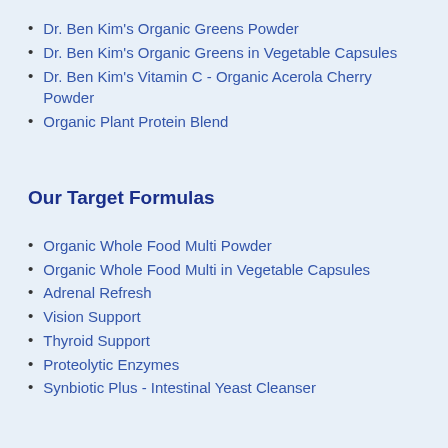Dr. Ben Kim's Organic Greens Powder
Dr. Ben Kim's Organic Greens in Vegetable Capsules
Dr. Ben Kim's Vitamin C - Organic Acerola Cherry Powder
Organic Plant Protein Blend
Our Target Formulas
Organic Whole Food Multi Powder
Organic Whole Food Multi in Vegetable Capsules
Adrenal Refresh
Vision Support
Thyroid Support
Proteolytic Enzymes
Synbiotic Plus - Intestinal Yeast Cleanser
Natural Personal Care